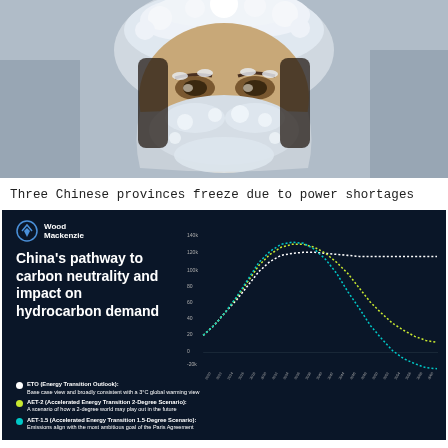[Figure (photo): Close-up photo of a person wearing a frost-covered hat and face mask, representing cold weather conditions in China due to power shortages]
Three Chinese provinces freeze due to power shortages
[Figure (line-chart): Wood Mackenzie chart showing China's energy transition scenarios: ETO (Energy Transition Outlook), AET-2 (Accelerated Energy Transition 2-Degree Scenario), and AET-1.5 (Accelerated Energy Transition 1.5-Degree Scenario). Three dotted line curves showing projected hydrocarbon demand over time with different warming scenarios.]